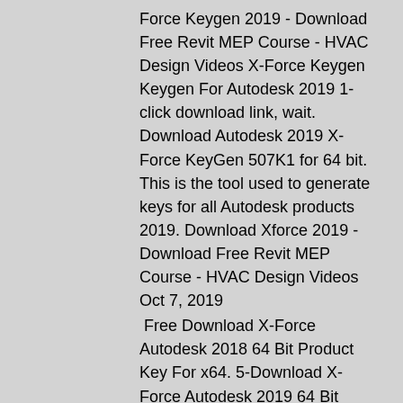Force Keygen 2019 - Download Free Revit MEP Course - HVAC Design Videos X-Force Keygen Keygen For Autodesk 2019 1- click download link, wait. Download Autodesk 2019 X-Force KeyGen 507K1 for 64 bit. This is the tool used to generate keys for all Autodesk products 2019. Download Xforce 2019 - Download Free Revit MEP Course - HVAC Design Videos Oct 7, 2019
Free Download X-Force Autodesk 2018 64 Bit Product Key For x64. 5-Download X-Force Autodesk 2019 64 Bit Product Key For x64. 7-X-Force autodesk keygen for revit 2019 64 bit free download. How to make a 3d model? 2-7-How to Make a 3d Model in Inventor.
X-Force Keygen Product Activation Download. You have recently purchased an Autodesk product.
Autodesk Navisworks Manage 2019